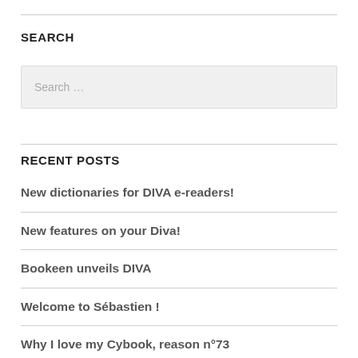SEARCH
Search …
RECENT POSTS
New dictionaries for DIVA e-readers!
New features on your Diva!
Bookeen unveils DIVA
Welcome to Sébastien !
Why I love my Cybook, reason n°73